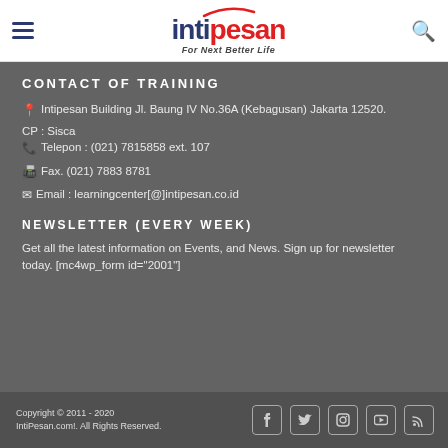intipesan — For Next Better Life
CONTACT OF TRAINING
📍 Intipesan Building Jl. Baung IV No.36A (Kebagusan) Jakarta 12520.
CP : Sisca
📞 Telepon : (021) 7815858 ext. 107
📠 Fax. (021) 7883 8781
✉ Email : learningcenter[@]intipesan.co.id
NEWSLETTER (EVERY WEEK)
Get all the latest information on Events, and News. Sign up for newsletter today. [mc4wp_form id="2001"]
Copyright © 2011 - 2020 IntiPesan.com!. All Rights Reserved.